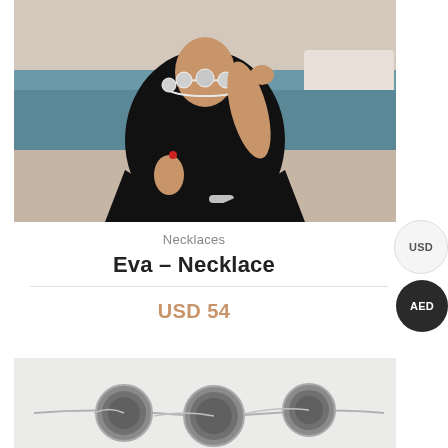[Figure (photo): Woman wearing a silver statement necklace with a black off-shoulder dress, standing near a pool]
Necklaces
Eva – Necklace
USD 54
[Figure (photo): Close-up of a silver chain necklace with round grey stone pendants]